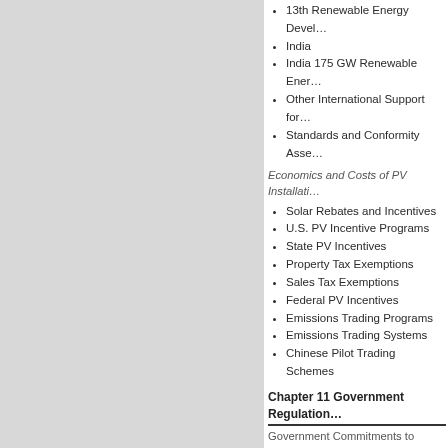13th Renewable Energy Devel…
India
India 175 GW Renewable Ener…
Other International Support for…
Standards and Conformity Asse…
Economics and Costs of PV Installati…
Solar Rebates and Incentives
U.S. PV Incentive Programs
State PV Incentives
Property Tax Exemptions
Sales Tax Exemptions
Federal PV Incentives
Emissions Trading Programs
Emissions Trading Systems
Chinese Pilot Trading Schemes
Chapter 11 Government Regulation…
Government Commitments to Enviro…
Feed-In Tariffs
Renewable Portfolio Standards
Power Purchase Agreements
Production Tax Credits
Renewable Energy Governing Bodies…